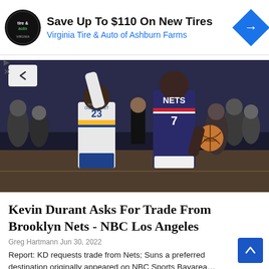[Figure (infographic): Advertisement banner for Virginia Tire & Auto of Ashburn Farms. Shows circular logo with 'tire & auto' text, headline 'Save Up To $110 On New Tires', subtext 'Virginia Tire & Auto of Ashburn Farms', and a blue diamond navigation icon. Play and X controls on left side.]
[Figure (photo): Basketball game photo showing two NBA players: Golden State Warriors player #23 (Draymond Green) in white uniform defending against Brooklyn Nets player #7 (Kevin Durant) in dark blue Nets uniform dribbling a basketball. Crowd visible in background.]
Kevin Durant Asks For Trade From Brooklyn Nets - NBC Los Angeles
Greg Hartmann   Jun 30, 2022
Report: KD requests trade from Nets; Suns a preferred destination originally appeared on NBC Sports Bayarea...